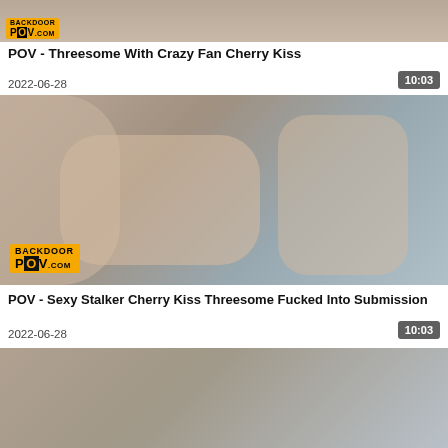[Figure (screenshot): Partial thumbnail of video at top of page with BackdoorPOV.com logo]
POV - Threesome With Crazy Fan Cherry Kiss
2022-06-28
10:03
[Figure (screenshot): Thumbnail image for second video with BackdoorPOV.com logo overlay]
POV - Sexy Stalker Cherry Kiss Threesome Fucked Into Submission
2022-06-28
10:03